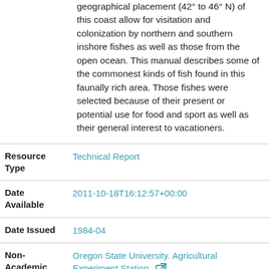geographical placement (42° to 46° N) of this coast allow for visitation and colonization by northern and southern inshore fishes as well as those from the open ocean. This manual describes some of the commonest kinds of fish found in this faunally rich area. Those fishes were selected because of their present or potential use for food and sport as well as their general interest to vacationers.
| Field | Value |
| --- | --- |
| Resource Type | Technical Report |
| Date Available | 2011-10-18T16:12:57+00:00 |
| Date Issued | 1984-04 |
| Non-Academic Affiliation | Oregon State University. Agricultural Experiment Station |